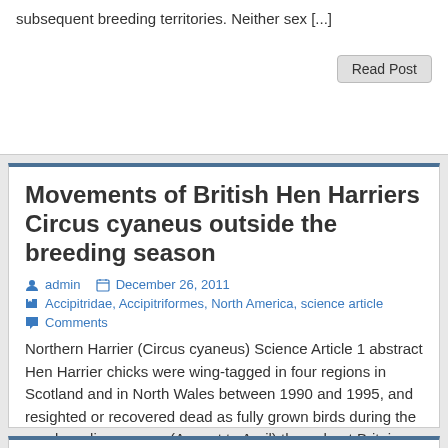subsequent breeding territories. Neither sex [...]
Read Post
Movements of British Hen Harriers Circus cyaneus outside the breeding season
admin   December 26, 2011
Accipitridae, Accipitriformes, North America, science article
Comments
Northern Harrier (Circus cyaneus) Science Article 1 abstract Hen Harrier chicks were wing-tagged in four regions in Scotland and in North Wales between 1990 and 1995, and resighted or recovered dead as fully grown birds during the non-breeding season (August to April) throughout Britain and Ireland, and on the Continent, until April 1997. Results were [...]
Read Post
Veranderungen in der Zusammensetzung der PCB- und DDT-Gemische in verschiedenen